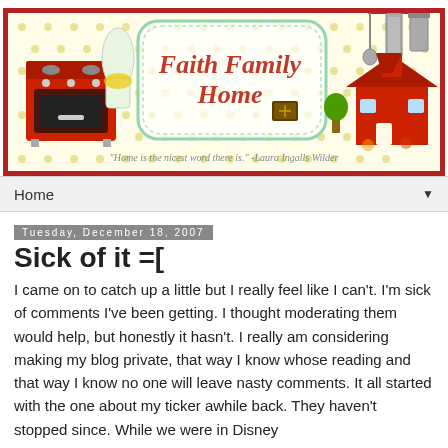[Figure (illustration): Blog header banner for 'Faith Family Home' blog. Features a yellow polka-dot background, a vintage red stove on the left, kitchen utensils hanging on the upper right, a red schoolhouse on the right, a decorative frame with the blog title 'Faith Family Home' in red serif font, a bible image, and a quote: "Home is the nicest word there is." -Laura Ingalls Wilder]
Home ▼
Tuesday, December 18, 2007
Sick of it =[
I came on to catch up a little but I really feel like I can't. I'm sick of comments I've been getting. I thought moderating them would help, but honestly it hasn't. I really am considering making my blog private, that way I know whose reading and that way I know no one will leave nasty comments. It all started with the one about my ticker awhile back. They haven't stopped since. While we were in Disney